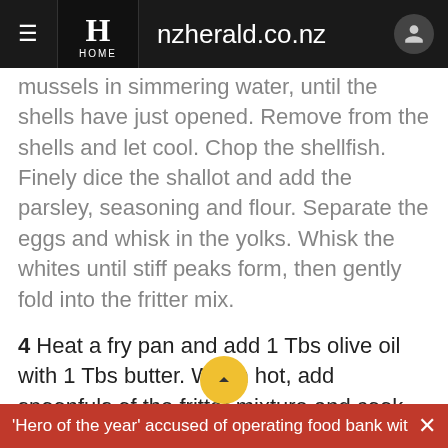nzherald.co.nz | HOME
mussels in simmering water, until the shells have just opened. Remove from the shells and let cool. Chop the shellfish. Finely dice the shallot and add the parsley, seasoning and flour. Separate the eggs and whisk in the yolks. Whisk the whites until stiff peaks form, then gently fold into the fritter mix.
4 Heat a fry pan and add 1 Tbs olive oil with 1 Tbs butter. When hot, add spoonfuls of the fritter mixture and cook for a minute or two on each side, depending on the size of the fritters.
'Hero of the year' accused of operating food bank with lo